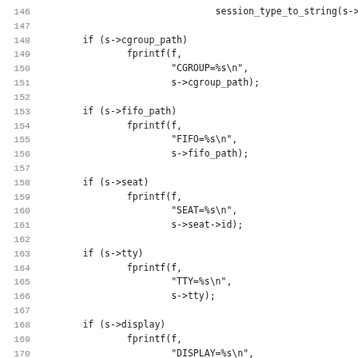[Figure (screenshot): Source code listing in C showing lines 146-178 of a file. The code contains conditional blocks checking session struct fields (cgroup_path, fifo_path, seat, tty, display, remote_host, remote_user) and calling fprintf to write formatted strings to a file.]